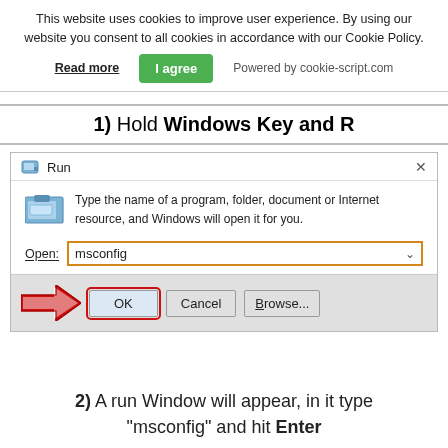This website uses cookies to improve user experience. By using our website you consent to all cookies in accordance with our Cookie Policy. Read more  I agree  Powered by cookie-script.com
1) Hold Windows Key and R
[Figure (screenshot): Windows Run dialog with 'msconfig' typed in the Open field, orange border around the input, red arrow pointing to OK button]
2) A run Window will appear, in it type "msconfig" and hit Enter